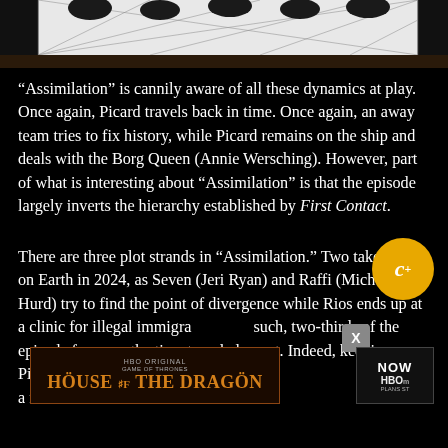[Figure (photo): Top portion of image showing feet/shoes on a decorative floor pattern, partially cropped at top]
“Assimilation” is cannily aware of all these dynamics at play. Once again, Picard travels back in time. Once again, an away team tries to fix history, while Picard remains on the ship and deals with the Borg Queen (Annie Wersching). However, part of what is interesting about “Assimilation” is that the episode largely inverts the hierarchy established by First Contact.
There are three plot strands in “Assimilation.” Two take place on Earth in 2024, as Seven (Jeri Ryan) and Raffi (Michelle Hurd) try to find the point of divergence while Rios ends up at a clinic for illegal immigra... such, two-thirds of the episode focus on the time travel element. Indeed, keeping Picard on the ship feels like a (s... much as a narrative cho... he risk of